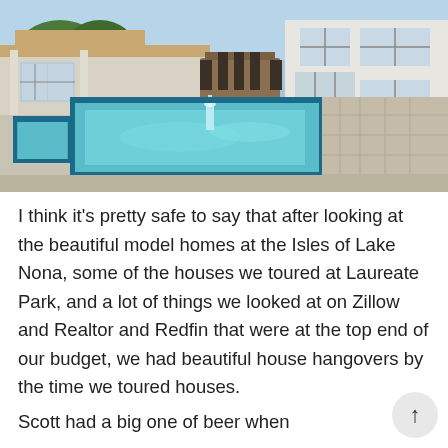[Figure (photo): Exterior photo of a modern house with a rectangular swimming pool featuring a fountain jet in the center, blue tile trim, and a paved stone patio. The house has white/cream stucco walls, large windows, and an outdoor dining table visible on the patio. Green trees appear in the background.]
I think it's pretty safe to say that after looking at the beautiful model homes at the Isles of Lake Nona, some of the houses we toured at Laureate Park, and a lot of things we looked at on Zillow and Realtor and Redfin that were at the top end of our budget, we had beautiful house hangovers by the time we toured houses.
Scott had a big one of beer when...